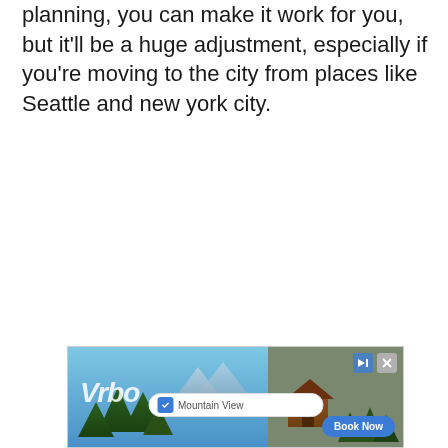planning, you can make it work for you, but it'll be a huge adjustment, especially if you're moving to the city from places like Seattle and new york city.
[Figure (other): Vrbo advertisement banner showing a mountain cabin with trees, a 'Mountain View' search bar with blue checkbox, and a 'Book Now' button. Skip and close buttons in top right corner.]